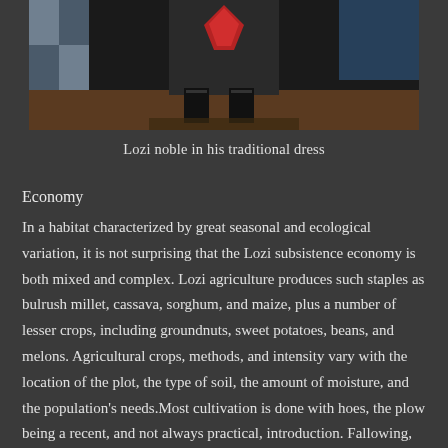[Figure (photo): A Lozi noble dressed in traditional dress, photographed from the waist down, wearing decorative clothing and black boots, standing on a dark floor.]
Lozi noble in his traditional dress
Economy
In a habitat characterized by great seasonal and ecological variation, it is not surprising that the Lozi subsistence economy is both mixed and complex. Lozi agriculture produces such staples as bulrush millet, cassava, sorghum, and maize, plus a number of lesser crops, including groundnuts, sweet potatoes, beans, and melons. Agricultural crops, methods, and intensity vary with the location of the plot, the type of soil, the amount of moisture, and the population's needs.Most cultivation is done with hoes, the plow being a recent, and not always practical, introduction. Fallowing, manuring, crop rotation, and construction of drainage ditches are all known to the Lozi and applied where...